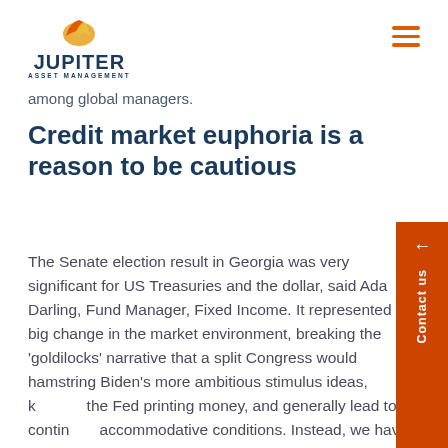Jupiter Asset Management
among global managers.
Credit market euphoria is a reason to be cautious
The Senate election result in Georgia was very significant for US Treasuries and the dollar, said Adam Darling, Fund Manager, Fixed Income. It represented a big change in the market environment, breaking the 'goldilocks' narrative that a split Congress would hamstring Biden's more ambitious stimulus ideas, keeping the Fed printing money, and generally lead to continued accommodative conditions. Instead, we have a